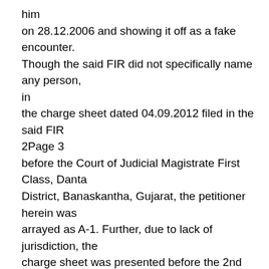him on 28.12.2006 and showing it off as a fake encounter. Though the said FIR did not specifically name any person, in the charge sheet dated 04.09.2012 filed in the said FIR 2Page 3 before the Court of Judicial Magistrate First Class, Danta District, Banaskantha, Gujarat, the petitioner herein was arrayed as A-1. Further, due to lack of jurisdiction, the charge sheet was presented before the 2nd Additional Chief Judicial Magistrate, (First Class), (CBI Court No. 1), Ahmedabad, Gujarat. 3) Being aggrieved by the fresh FIR dated 29.04.2011 and charge sheet dated 04.09.2012, the petitioner herein has filed the above said writ petition on the ground of it being